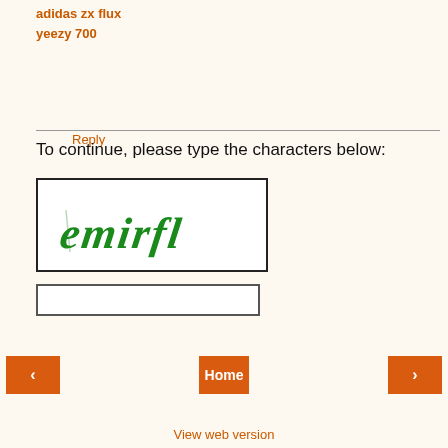adidas zx flux
yeezy 700
Reply
To continue, please type the characters below:
[Figure (other): CAPTCHA image with green handwritten text reading 'emirfl' on white background inside a black-bordered box]
Home
View web version